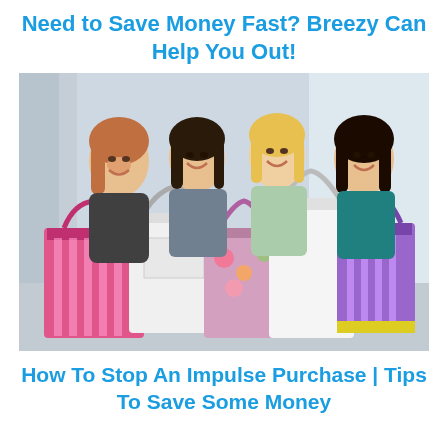Need to Save Money Fast? Breezy Can Help You Out!
[Figure (photo): Four young women smiling and laughing while holding colorful shopping bags (pink, white, purple striped) in front of a bright retail storefront background.]
How To Stop An Impulse Purchase | Tips To Save Some Money